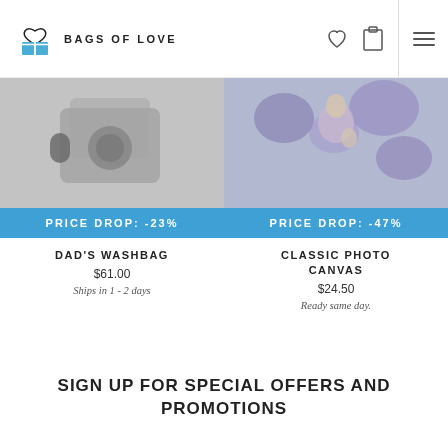BAGS OF LOVE
[Figure (photo): Product image of Dad's Washbag with camera-like item visible]
PRICE DROP: -23%
DAD'S WASHBAG
$61.00
Ships in 1 - 2 days
[Figure (photo): Product image of Classic Photo Canvas showing woman holding child in purple flowers]
PRICE DROP: -47%
CLASSIC PHOTO CANVAS
$24.50
Ready same day.
SIGN UP FOR SPECIAL OFFERS AND PROMOTIONS